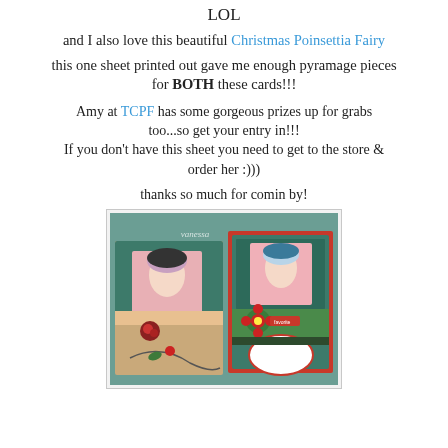LOL
and I also love this beautiful Christmas Poinsettia Fairy
this one sheet printed out gave me enough pyramage pieces for BOTH these cards!!!
Amy at TCPF has some gorgeous prizes up for grabs too...so get your entry in!!!
If you don't have this sheet you need to get to the store & order her :)))
thanks so much for comin by!
[Figure (photo): Two handmade Christmas cards featuring a fairy illustration, placed on a green and brown background with decorative elements including poinsettia flowers and ribbons.]